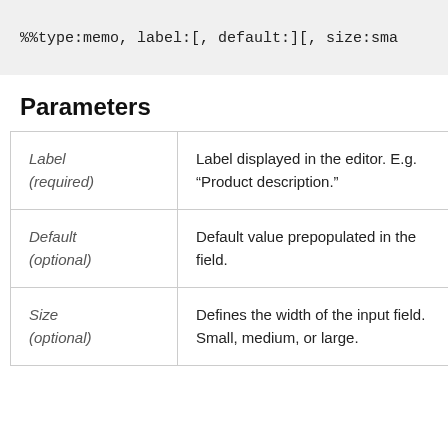%%type:memo, label:[, default:][, size:sma
Parameters
| Parameter | Description |
| --- | --- |
| Label (required) | Label displayed in the editor. E.g. “Product description.” |
| Default (optional) | Default value prepopulated in the field. |
| Size (optional) | Defines the width of the input field. Small, medium, or large. |